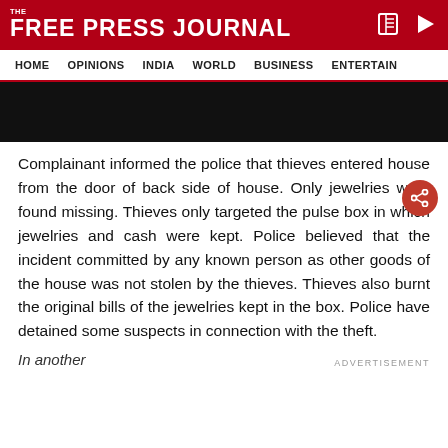THE FREE PRESS JOURNAL
HOME  OPINIONS  INDIA  WORLD  BUSINESS  ENTERTAIN
[Figure (photo): Black rectangular image placeholder at top of article]
Complainant informed the police that thieves entered house from the door of back side of house. Only jewelries were found missing. Thieves only targeted the pulse box in which jewelries and cash were kept. Police believed that the incident committed by any known person as other goods of the house was not stolen by the thieves. Thieves also burnt the original bills of the jewelries kept in the box. Police have detained some suspects in connection with the theft.
In another
ADVERTISEMENT